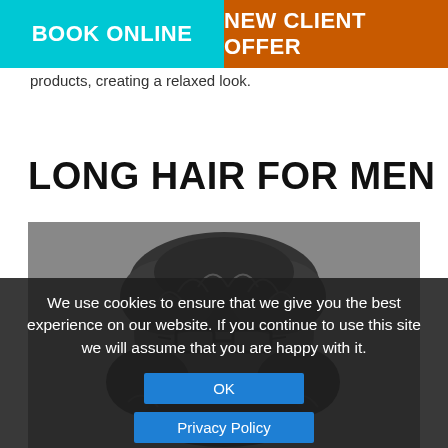[Figure (screenshot): Navigation bar with two buttons: 'BOOK ONLINE' on cyan background and 'NEW CLIENT OFFER' on orange background]
products, creating a relaxed look.
LONG HAIR FOR MEN
[Figure (photo): Black and white photo of a man with long curly hair and glasses, cropped to show top of head]
We use cookies to ensure that we give you the best experience on our website. If you continue to use this site we will assume that you are happy with it.